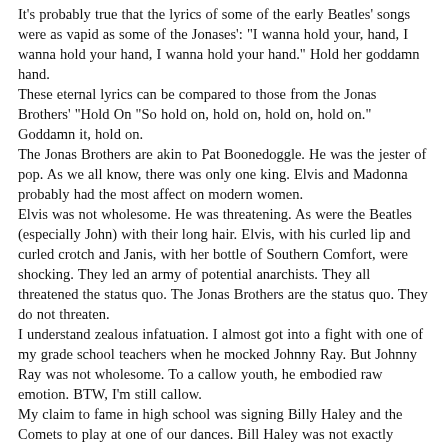It's probably true that the lyrics of some of the early Beatles' songs were as vapid as some of the Jonases': "I wanna hold your, hand, I wanna hold your hand, I wanna hold your hand." Hold her goddamn hand.
These eternal lyrics can be compared to those from the Jonas Brothers' "Hold On "So hold on, hold on, hold on, hold on." Goddamn it, hold on.
The Jonas Brothers are akin to Pat Boonedoggle. He was the jester of pop. As we all know, there was only one king. Elvis and Madonna probably had the most affect on modern women.
Elvis was not wholesome. He was threatening. As were the Beatles (especially John) with their long hair. Elvis, with his curled lip and curled crotch and Janis, with her bottle of Southern Comfort, were shocking. They led an army of potential anarchists. They all threatened the status quo. The Jonas Brothers are the status quo. They do not threaten.
I understand zealous infatuation. I almost got into a fight with one of my grade school teachers when he mocked Johnny Ray. But Johnny Ray was not wholesome. To a callow youth, he embodied raw emotion. BTW, I'm still callow.
My claim to fame in high school was signing Billy Haley and the Comets to play at one of our dances. Bill Haley was not exactly wholesome.